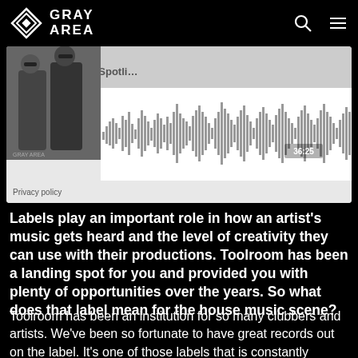Gray Area
[Figure (screenshot): SoundCloud embedded audio player showing Gray Area Spotlight podcast, 36:25 duration, with photo of two artists on left and waveform visualization on right]
Privacy policy
Labels play an important role in how an artist's music gets heard and the level of creativity they can use with their productions. Toolroom has been a landing spot for you and provided you with plenty of opportunities over the years. So what does that label mean for the house music scene?
Toolroom has been an institution for so many clubbers and artists. We've been so fortunate to have great records out on the label. It's one of those labels that is constantly evolving because they have such a great